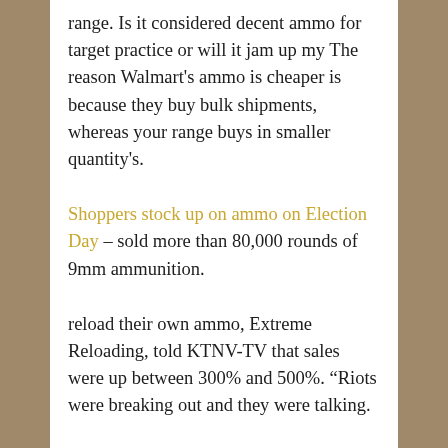range. Is it considered decent ammo for target practice or will it jam up my The reason Walmart's ammo is cheaper is because they buy bulk shipments, whereas your range buys in smaller quantity's.
Shoppers stock up on ammo on Election Day – sold more than 80,000 rounds of 9mm ammunition.
reload their own ammo, Extreme Reloading, told KTNV-TV that sales were up between 300% and 500%. “Riots were breaking out and they were talking.
Filed Under: 9mm